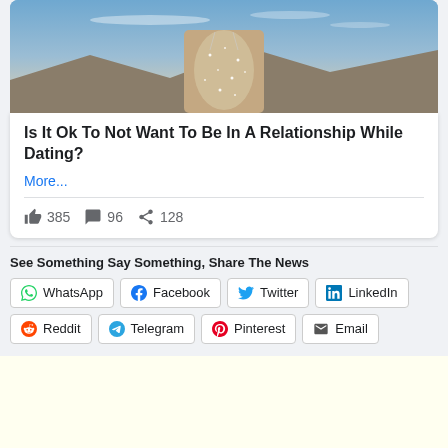[Figure (photo): Photo of a person in a sparkly outfit with blue sky and mountains in background]
Is It Ok To Not Want To Be In A Relationship While Dating?
More...
385  96  128
See Something Say Something, Share The News
WhatsApp  Facebook  Twitter  LinkedIn  Reddit  Telegram  Pinterest  Email
[Figure (other): Advertisement banner (yellow/cream background)]